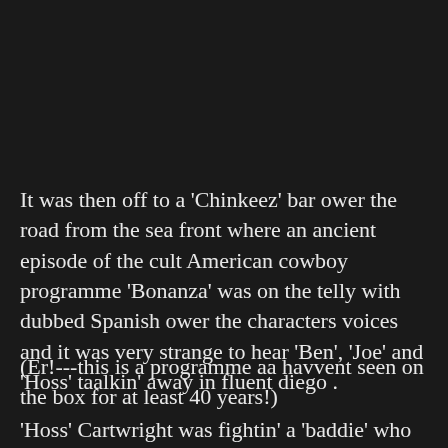It was then off to a 'Chinkeez' bar ower the road from the sea front where an ancient episode of the cult American cowboy programme 'Bonanza' was on the telly with dubbed Spanish ower the characters voices and it was very strange to hear 'Ben', 'Joe' and 'Hoss' taalkin' away in fluent diego .
(Er!---this is a programme aa havvent seen on the box for at least 40 years!)
'Hoss' Cartwright was fightin' a 'baddie' who tried